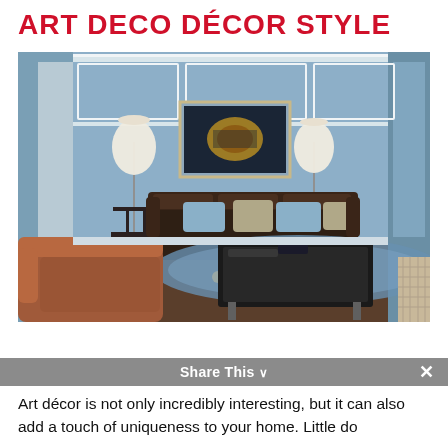ART DECO DECOR STYLE
[Figure (photo): An Art Deco styled living room with light blue walls featuring white panel molding, a dark brown velvet sofa with light blue and beige throw pillows, two white floor lamps on geometric side tables, a framed dark artwork on the wall, a black lacquer coffee table, a blue floral area rug, and in the foreground a brown leather armchair. The room has a sophisticated, luxurious feel.]
Art décor is not only incredibly interesting, but it can also add a touch of uniqueness to your home. Little do